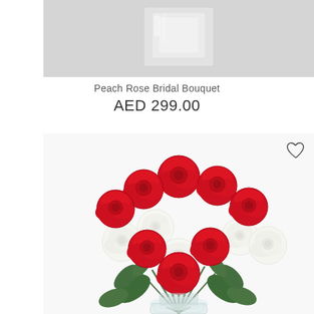[Figure (photo): Partial top view of a glass vase or perfume bottle on a grey background, cropped at top of page]
Peach Rose Bridal Bouquet
AED 299.00
[Figure (photo): Product photo of a bouquet of red and white roses arranged in a clear glass vase on a white background, with a heart/wishlist icon in the top right corner of the image]